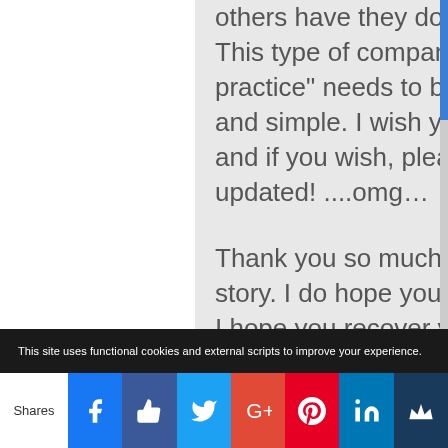others have they done this to as well? This type of company and “business practice” needs to be stopped – plain and simple. I wish you well. Good luck, and if you wish, please keep us updated! ....omg…
Thank you so much for sharing your story. I do hope you press charges and I hope you recover your losses...
This site uses functional cookies and external scripts to improve your experience.